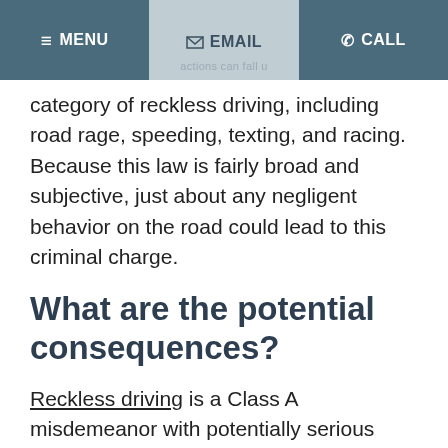≡ MENU | ✉ EMAIL | ✆ CALL
category of reckless driving, including road rage, speeding, texting, and racing. Because this law is fairly broad and subjective, just about any negligent behavior on the road could lead to this criminal charge.
What are the potential consequences?
Reckless driving is a Class A misdemeanor with potentially serious consequences. A motorist could face up to one year in jail and a $2,500 fine. Drivers aged 21 and over will not lose their